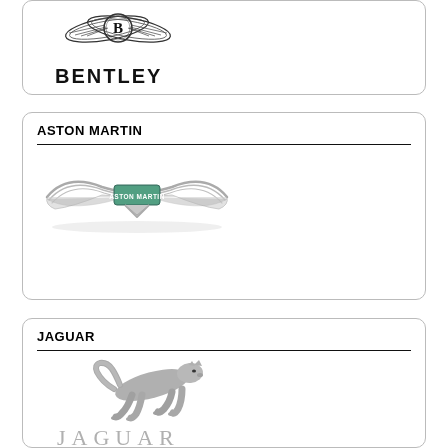[Figure (logo): Bentley logo with winged B emblem above the text BENTLEY in bold black capitals]
[Figure (logo): Aston Martin wings badge logo in silver/chrome with ASTON MARTIN text in center green rectangle]
[Figure (logo): Jaguar leaping cat logo in silver above JAGUAR text in silver capitals]